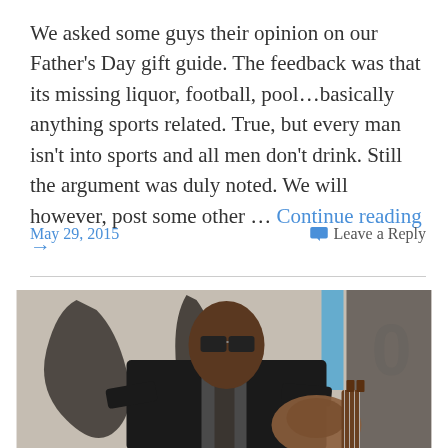We asked some guys their opinion on our Father's Day gift guide. The feedback was that its missing liquor, football, pool…basically anything sports related. True, but every man isn't into sports and all men don't drink. Still the argument was duly noted. We will however, post some other … Continue reading →
May 29, 2015
Leave a Reply
[Figure (photo): A man wearing sunglasses and a dark suit playing guitar in front of a graffiti wall]